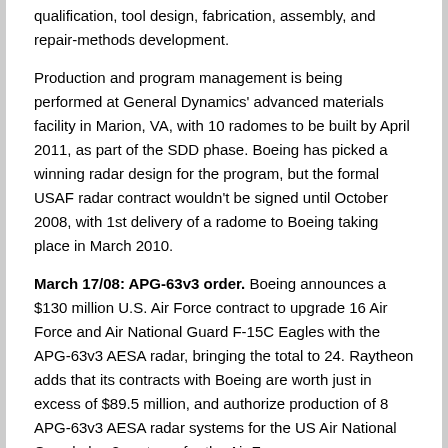qualification, tool design, fabrication, assembly, and repair-methods development.
Production and program management is being performed at General Dynamics' advanced materials facility in Marion, VA, with 10 radomes to be built by April 2011, as part of the SDD phase. Boeing has picked a winning radar design for the program, but the formal USAF radar contract wouldn't be signed until October 2008, with 1st delivery of a radome to Boeing taking place in March 2010.
March 17/08: APG-63v3 order. Boeing announces a $130 million U.S. Air Force contract to upgrade 16 Air Force and Air National Guard F-15C Eagles with the APG-63v3 AESA radar, bringing the total to 24. Raytheon adds that its contracts with Boeing are worth just in excess of $89.5 million, and authorize production of 8 APG-63v3 AESA radar systems for the US Air National Guard plus 8 systems for the Air Force.
See also the Oct 9/07 entry, which describes the delivery